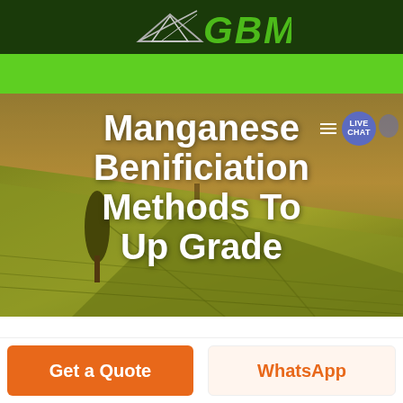[Figure (logo): GBM logo with arrow/mountain graphic and green GBM text on dark green header]
[Figure (screenshot): Green navigation bar with hamburger menu and live chat bubble icon]
[Figure (photo): Aerial photograph of agricultural fields with a lone tree, warm golden-green tones]
Manganese Benificiation Methods To Up Grade
Get a Quote
WhatsApp